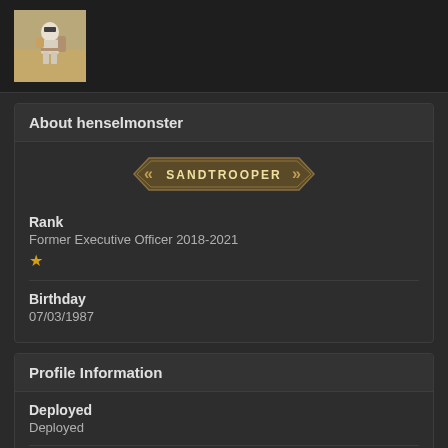[Figure (photo): Avatar image showing a sandtrooper/stormtrooper character]
About henselmonster
[Figure (other): SANDTROOPER rank badge with chevron arrows on both sides]
Rank
Former Executive Officer 2018-2021
★
Birthday
07/03/1987
Profile Information
Deployed
Deployed
Name
John